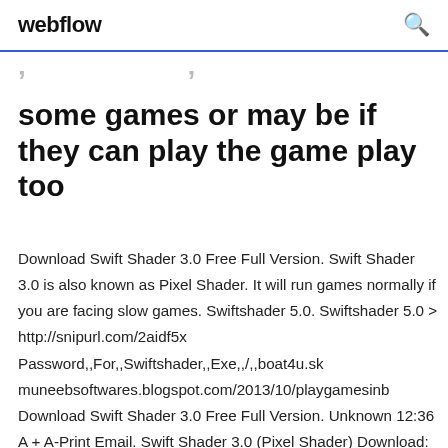webflow
…, …, some games or may be if they can play the game play too
Download Swift Shader 3.0 Free Full Version. Swift Shader 3.0 is also known as Pixel Shader. It will run games normally if you are facing slow games. Swiftshader 5.0. Swiftshader 5.0 > http://snipurl.com/2aidf5x Password,,For,,Swiftshader,,Exe,,/,,boat4u.sk muneebsoftwares.blogspot.com/2013/10/playgamesinb Download Swift Shader 3.0 Free Full Version. Unknown 12:36 A + A-Print Email. Swift Shader 3.0 (Pixel Shader) Download: Swift Shader 3.0 which is also known as Pixel Shader, is a software that is used by…